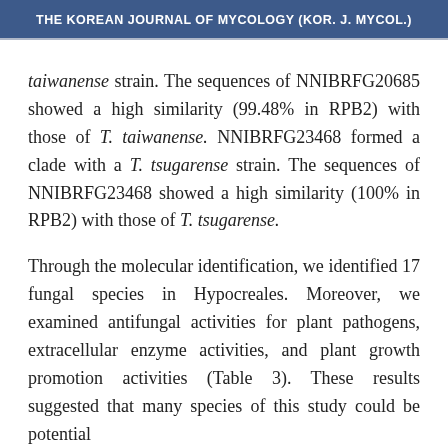THE KOREAN JOURNAL OF MYCOLOGY (KOR. J. MYCOL.)
taiwanense strain. The sequences of NNIBRFG20685 showed a high similarity (99.48% in RPB2) with those of T. taiwanense. NNIBRFG23468 formed a clade with a T. tsugarense strain. The sequences of NNIBRFG23468 showed a high similarity (100% in RPB2) with those of T. tsugarense.
Through the molecular identification, we identified 17 fungal species in Hypocreales. Moreover, we examined antifungal activities for plant pathogens, extracellular enzyme activities, and plant growth promotion activities (Table 3). These results suggested that many species of this study could be potential